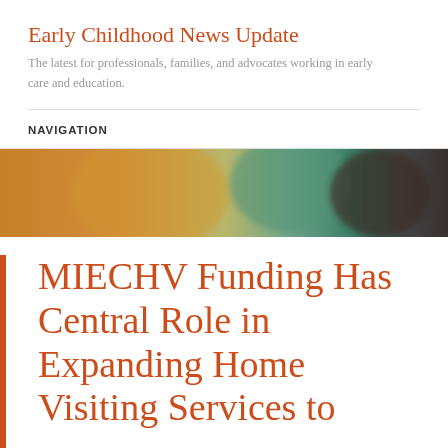Early Childhood News Update
The latest for professionals, families, and advocates working in early care and education.
NAVIGATION
[Figure (photo): A blurred close-up image of a child's face with colorful paint, showing warm orange and teal tones.]
MIECHV Funding Has Central Role in Expanding Home Visiting Services to